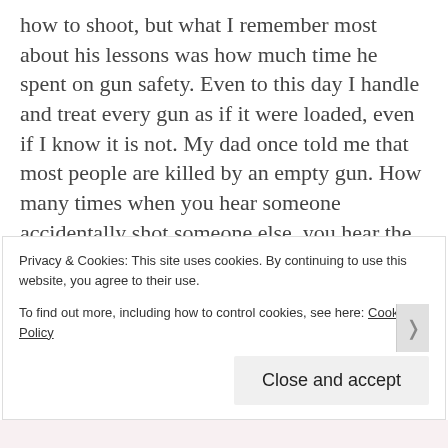how to shoot, but what I remember most about his lessons was how much time he spent on gun safety. Even to this day I handle and treat every gun as if it were loaded, even if I know it is not. My dad once told me that most people are killed by an empty gun. How many times when you hear someone accidentally shot someone else, you hear the shooter say, “I thought the gun was empty”. Nearly every time.
Privacy & Cookies: This site uses cookies. By continuing to use this website, you agree to their use.
To find out more, including how to control cookies, see here: Cookie Policy
Close and accept